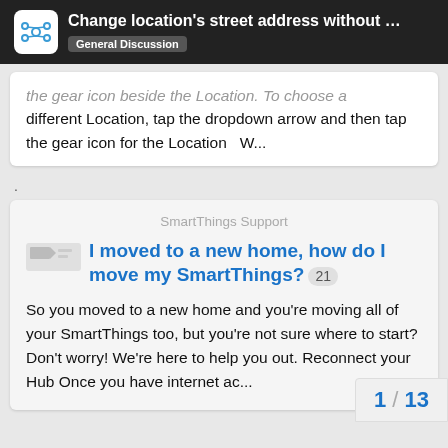Change location's street address without a… — General Discussion
the gear icon beside the Location. To choose a different Location, tap the dropdown arrow and then tap the gear icon for the Location   W...
.
SmartThings Support
I moved to a new home, how do I move my SmartThings? 21
So you moved to a new home and you're moving all of your SmartThings too, but you're not sure where to start? Don't worry! We're here to help you out. Reconnect your Hub Once you have internet ac...
1 / 13